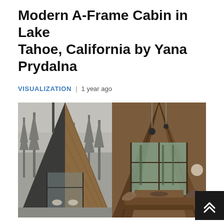Modern A-Frame Cabin in Lake Tahoe, California by Yana Prydalna
VISUALIZATION | 1 year ago
[Figure (photo): Two side-by-side architectural visualization photos of a modern A-Frame cabin. Left photo: exterior black-and-white view of the A-frame structure surrounded by tall pine trees in fog, with glass walls and a chimney pipe visible. Right photo: interior color view looking out through large glass walls to the forest, with wooden structural beams, pendant lights, and rustic wood furniture.]
The interior designer Yana Prydalna has designed Quiet Space House, a modern A-Frame Cabin to be built in the middle of the forest in Lake Tahoe, California, United States of America.